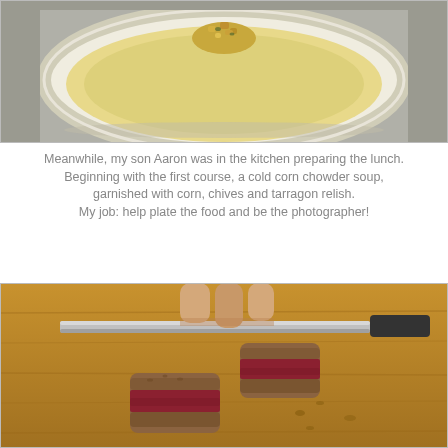[Figure (photo): Top-down view of a white bowl containing creamy corn chowder soup garnished with corn, chives and tarragon relish in the center.]
Meanwhile, my son Aaron was in the kitchen preparing the lunch. Beginning with the first course, a cold corn chowder soup, garnished with corn, chives and tarragon relish. My job: help plate the food and be the photographer!
[Figure (photo): Hands cutting small sandwiches on a wooden cutting board with a large knife. The sandwiches appear to be on whole grain bread with meat filling.]